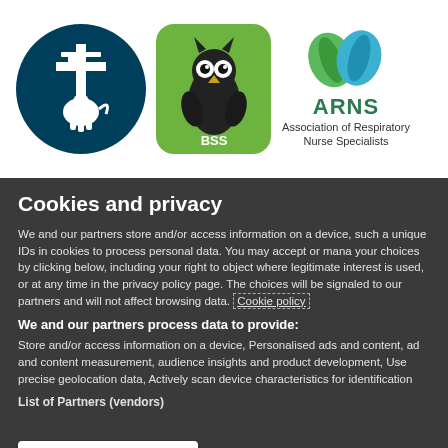[Figure (logo): Three organization logos: a dark teal circle with a lion and cross emblem, a green rounded square with an owl and BSS text, and ARNS (Association of Respiratory Nurse Specialists) logo with green leaves]
Cookies and privacy
We and our partners store and/or access information on a device, such as unique IDs in cookies to process personal data. You may accept or manage your choices by clicking below, including your right to object where legitimate interest is used, or at any time in the privacy policy page. These choices will be signaled to our partners and will not affect browsing data. Cookie policy
We and our partners process data to provide:
Store and/or access information on a device, Personalised ads and content, ad and content measurement, audience insights and product development, Use precise geolocation data, Actively scan device characteristics for identification
List of Partners (vendors)
I Accept